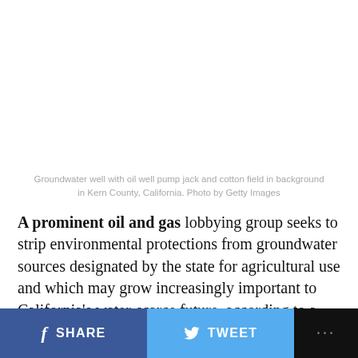[Figure (photo): White/blank area where photo of groundwater well with oil well pump jack and cotton field in background in Kern County, California would appear]
Groundwater well with oil well pump jack and cotton field in background in Kern County, California. Photo by Getty Images
A prominent oil and gas lobbying group seeks to strip environmental protections from groundwater sources designated by the state for agricultural use and which may grow increasingly important to California's water-scarce future, according to a memo obtained through a records request.
[Figure (infographic): Social sharing bar with Facebook SHARE button (dark blue), Twitter TWEET button (light blue), and more options button (black with ellipsis)]